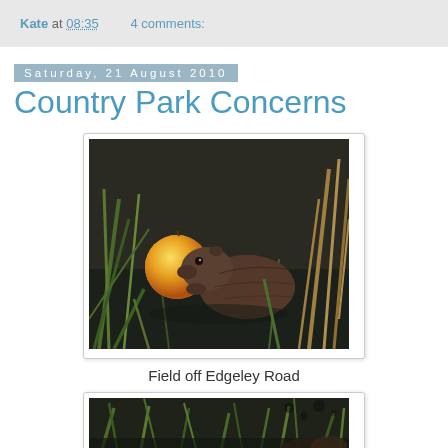Kate at 08:35    4 comments:
Saturday, 21 August 2010
Country Park Concerns
[Figure (photo): A water vole eating an apple in a waterway surrounded by green reeds and grass]
Field off Edgeley Road
[Figure (photo): Another photo of a water vole or similar animal in reeds and water, partially visible at bottom of page]